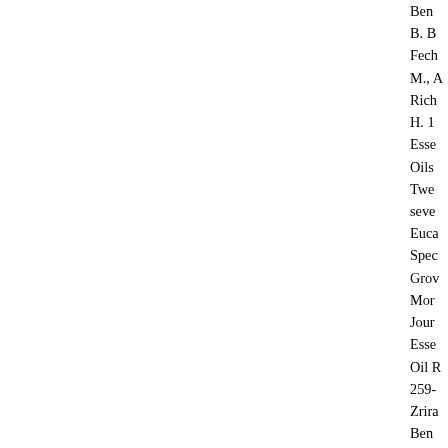Ben
B. B
Fech
M., A
Rich
H. 1
Esse
Oils
Twe
seve
Euca
Spec
Grow
Mor
Jour
Esse
Oil R
259-
Zrira
Ben
B. B
Fech
M., A
Rich
H. 1
BETA-ELEMENE    Shoot    --    6.0    -0.32
13